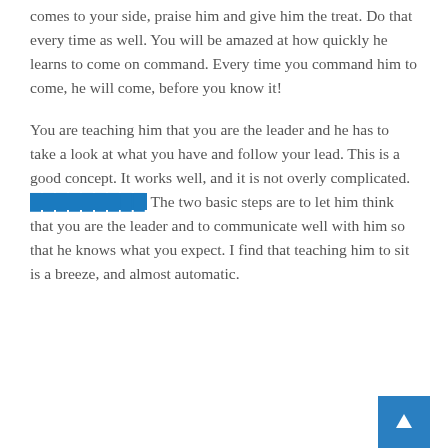comes to your side, praise him and give him the treat. Do that every time as well. You will be amazed at how quickly he learns to come on command. Every time you command him to come, he will come, before you know it!
You are teaching him that you are the leader and he has to take a look at what you have and follow your lead. This is a good concept. It works well, and it is not overly complicated. [highlighted text] The two basic steps are to let him think that you are the leader and to communicate well with him so that he knows what you expect. I find that teaching him to sit is a breeze, and almost automatic.